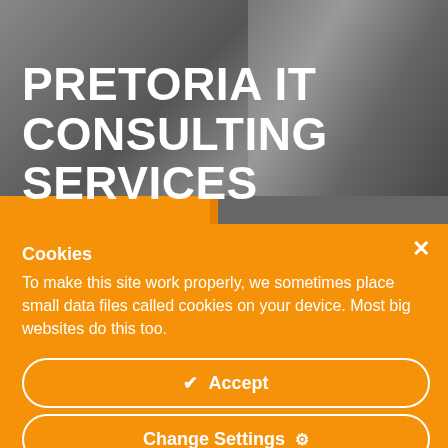[Figure (photo): Grayscale background photo of an office/tech environment with dark tones, showing desk/equipment silhouettes on left and a person silhouette on the right.]
PRETORIA IT CONSULTING SERVICES
Cookies
To make this site work properly, we sometimes place small data files called cookies on your device. Most big websites do this too.
✔  Accept
Change Settings  ⚙